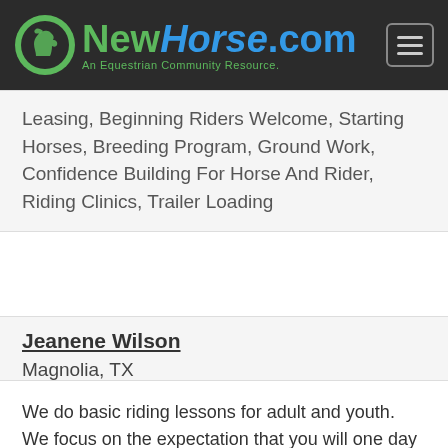NewHorse.com - An Equestrian Community Resource.
Leasing, Beginning Riders Welcome, Starting Horses, Breeding Program, Ground Work, Confidence Building For Horse And Rider, Riding Clinics, Trailer Loading
Jeanene Wilson
Magnolia, TX
We do basic riding lessons for adult and youth. We focus on the expectation that you will one day want to own a horse and we teach both riding and handling/care from the ground. Our imphasis is on saftey for both the handler and the horse.
Highlights: Intermediate Riders, Playday Events,